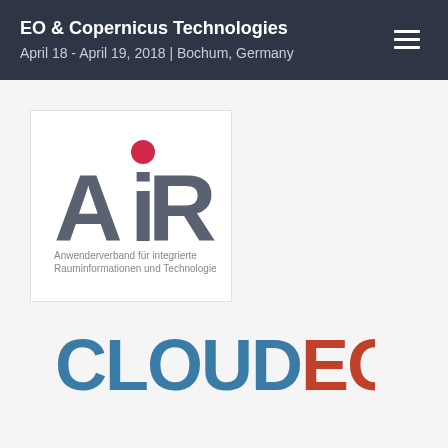EO & Copernicus Technologies
April 18 - April 19, 2018 | Bochum, Germany
[Figure (logo): AIR logo — stylized letters A, I (with red dot), R in dark grey, with tagline 'Anwenderverband für integrierte Rauminformationen und Technologien']
[Figure (logo): CLOUDEO logo — 'CLOUD' in steel blue and 'EO' in burnt red/orange, large sans-serif bold text]